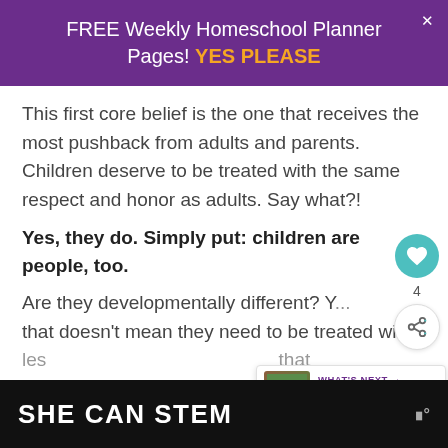FREE Weekly Homeschool Planner Pages! YES PLEASE
This first core belief is the one that receives the most pushback from adults and parents. Children deserve to be treated with the same respect and honor as adults. Say what?!
Yes, they do. Simply put: children are people, too.
Are they developmentally different? Y... that doesn't mean they need to be treated with les... that des... ano...
SHE CAN STEM